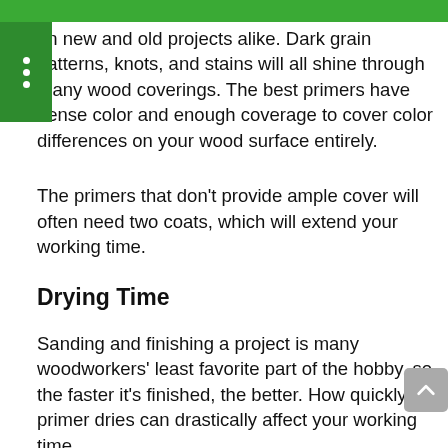The color variation on wood surfaces is common on new and old projects alike. Dark grain patterns, knots, and stains will all shine through many wood coverings. The best primers have dense color and enough coverage to cover color differences on your wood surface entirely.
The primers that don’t provide ample cover will often need two coats, which will extend your working time.
Drying Time
Sanding and finishing a project is many woodworkers’ least favorite part of the hobby, so the faster it’s finished, the better. How quickly a primer dries can drastically affect your working time.